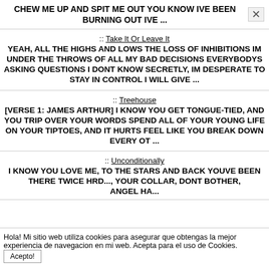CHEW ME UP AND SPIT ME OUT YOU KNOW IVE BEEN BURNING OUT IVE ...
:: Take It Or Leave It
YEAH, ALL THE HIGHS AND LOWS THE LOSS OF INHIBITIONS IM UNDER THE THROWS OF ALL MY BAD DECISIONS EVERYBODYS ASKING QUESTIONS I DONT KNOW SECRETLY, IM DESPERATE TO STAY IN CONTROL I WILL GIVE ...
:: Treehouse
[VERSE 1: JAMES ARTHUR] I KNOW YOU GET TONGUE-TIED, AND YOU TRIP OVER YOUR WORDS SPEND ALL OF YOUR YOUNG LIFE ON YOUR TIPTOES, AND IT HURTS FEEL LIKE YOU BREAK DOWN EVERY OT ...
:: Unconditionally
Hola! Mi sitio web utiliza cookies para asegurar que obtengas la mejor experiencia de navegacion en mi web. Acepta para el uso de Cookies.